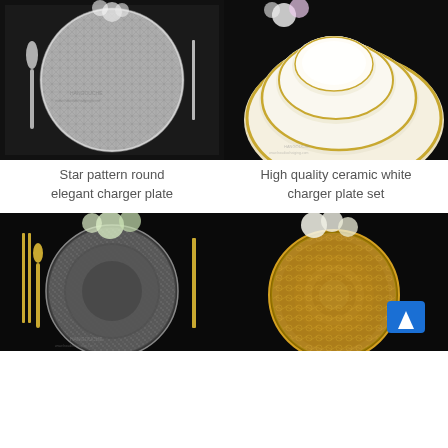[Figure (photo): Star pattern round charger plate on black background with silverware and white roses]
[Figure (photo): High quality ceramic white charger plate set with gold wavy edges stacked on black background]
Star pattern round elegant charger plate
High quality ceramic white charger plate set
[Figure (photo): Clear glass charger plate with geometric pattern, gold cutlery and white roses on black background]
[Figure (photo): Gold ornate lace pattern charger plate with white roses on black background, blue scroll-to-top button visible]